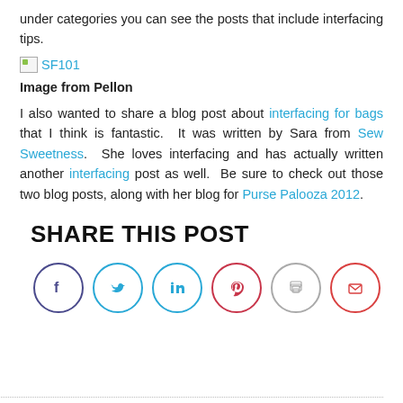under categories you can see the posts that include interfacing tips.
[Figure (illustration): Broken image placeholder with link text 'SF101']
Image from Pellon
I also wanted to share a blog post about interfacing for bags that I think is fantastic. It was written by Sara from Sew Sweetness. She loves interfacing and has actually written another interfacing post as well. Be sure to check out those two blog posts, along with her blog for Purse Palooza 2012.
SHARE THIS POST
[Figure (infographic): Row of six social share icon circles: Facebook (dark blue), Twitter (light blue), LinkedIn (light blue), Pinterest (red), Print (gray), Email (red-orange)]